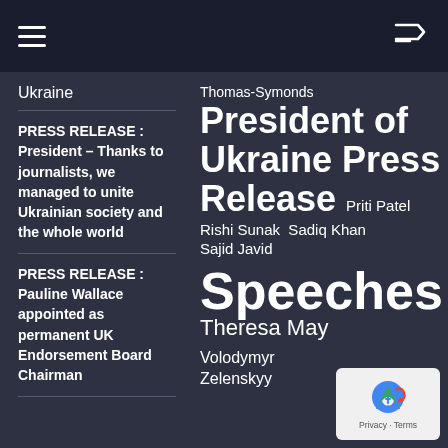[Navigation bar with hamburger menu and shuffle icon]
Ukraine
PRESS RELEASE : President – Thanks to journalists, we managed to unite Ukrainian society and the whole world
PRESS RELEASE : Pauline Wallace appointed as permanent UK Endorsement Board Chairman
Thomas-Symonds
President of Ukraine Press Release
Priti Patel
Rishi Sunak  Sadiq Khan
Sajid Javid
Speeches
Theresa May
Volodymyr Zelenskyy
[Figure (logo): Google Privacy & Terms badge with reCAPTCHA logo]